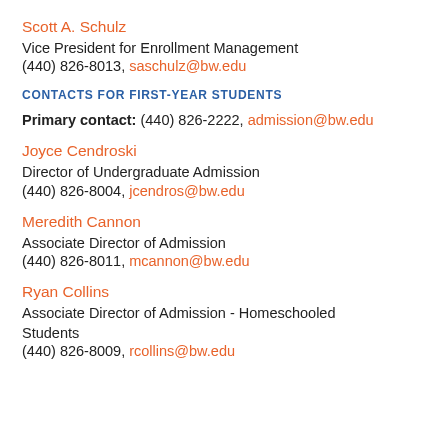Scott A. Schulz
Vice President for Enrollment Management
(440) 826-8013, saschulz@bw.edu
CONTACTS FOR FIRST-YEAR STUDENTS
Primary contact: (440) 826-2222, admission@bw.edu
Joyce Cendroski
Director of Undergraduate Admission
(440) 826-8004, jcendros@bw.edu
Meredith Cannon
Associate Director of Admission
(440) 826-8011, mcannon@bw.edu
Ryan Collins
Associate Director of Admission - Homeschooled Students
(440) 826-8009, rcollins@bw.edu